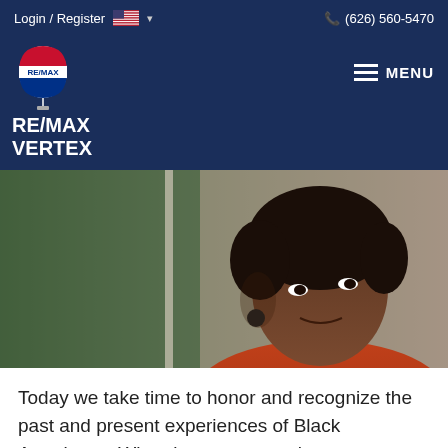Login / Register   🇺🇸 ∨   (626) 560-5470
[Figure (logo): RE/MAX balloon logo with text RE/MAX VERTEX and hamburger MENU button on dark navy background]
[Figure (photo): Portrait of a Black woman in a red top, looking to the side, with a blurred outdoor background]
Today we take time to honor and recognize the past and present experiences of Black Americans. When it comes to real estate specifically, equitable access to housing has come a long way, but the path to